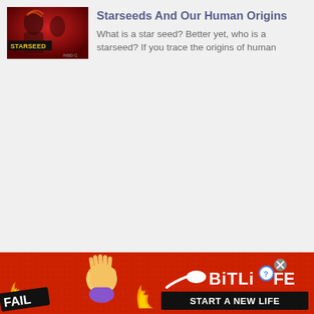[Figure (photo): Thumbnail image for article about Starseeds, showing dramatic red background with people and a STARSEED text overlay in yellow, with INSD logo in corner]
Starseeds And Our Human Origins
What is a star seed?  Better yet, who is a starseed?  If you trace the origins of human
[Figure (photo): BitLife advertisement banner with red background, FAIL badge, facepalm emoji, flame emoji, sperm icon, BitLife logo, and START A NEW LIFE button]